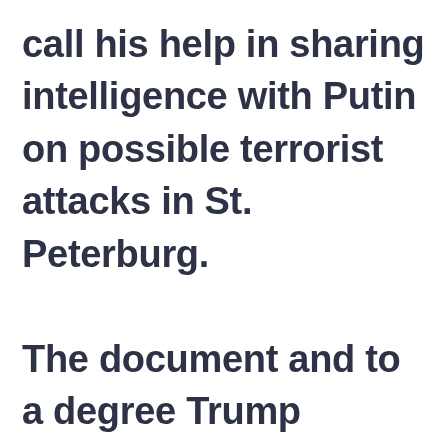call his help in sharing intelligence with Putin on possible terrorist attacks in St. Peterburg. The document and to a degree Trump acknowledged the “great power rivals” and that Russia